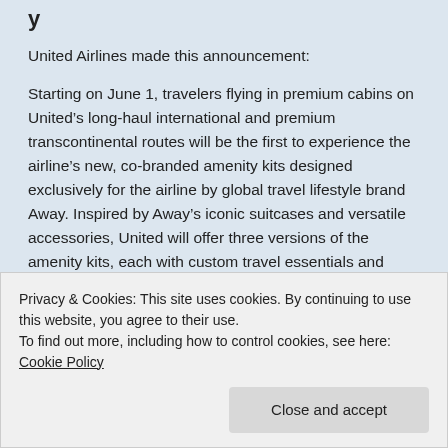United Airlines made this announcement:
Starting on June 1, travelers flying in premium cabins on United’s long-haul international and premium transcontinental routes will be the first to experience the airline’s new, co-branded amenity kits designed exclusively for the airline by global travel lifestyle brand Away. Inspired by Away’s iconic suitcases and versatile accessories, United will offer three versions of the amenity kits, each with custom travel essentials and Sunday Riley’s United-exclusive range of clean, cruelty-free skincare products. The collaboration signifies the
Privacy & Cookies: This site uses cookies. By continuing to use this website, you agree to their use.
To find out more, including how to control cookies, see here: Cookie Policy
Close and accept